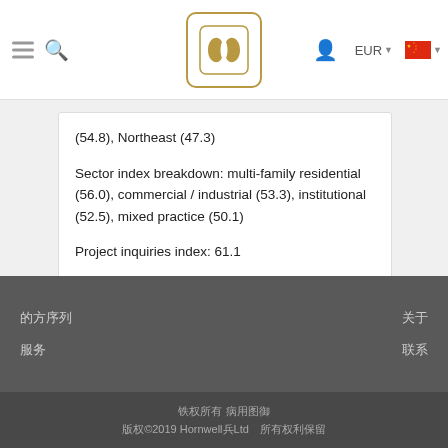Navigation bar with hamburger menu, search icon, logo, user icon, EUR currency selector, and Chinese flag language selector
(54.8), Northeast (47.3)
Sector index breakdown: multi-family residential (56.0), commercial / industrial (53.3), institutional (52.5), mixed practice (50.1)
Project inquiries index: 61.1
Design contracts index: 53.9
Footer links in Chinese characters with copyright: ©2019 Hornwell Ltd